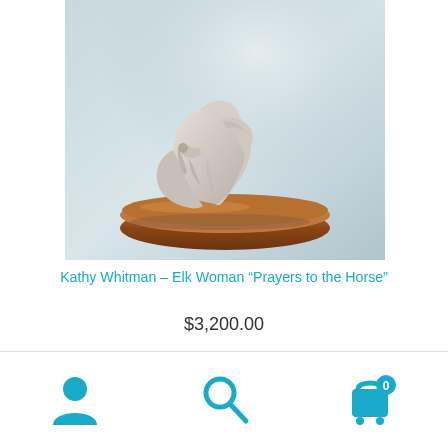[Figure (photo): Close-up photo of a white/grey sculpture of a woman with flowing robes on a wooden base, against a pale blue-grey background. The sculpture appears to be titled 'Prayers to the Horse' by Kathy Whitman – Elk Woman.]
Kathy Whitman – Elk Woman “Prayers to the Horse”
$3,200.00
Add to cart